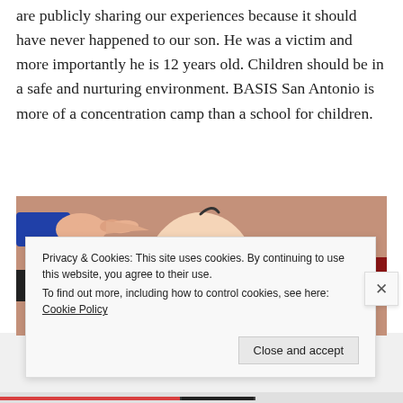are publicly sharing our experiences because it should have never happened to our son. He was a victim and more importantly he is 12 years old. Children should be in a safe and nurturing environment. BASIS San Antonio is more of a concentration camp than a school for children.
[Figure (illustration): Cartoon illustration showing several hands pointing at a bald cartoon character with a green eye, against a brown background. The character looks startled or overwhelmed.]
Privacy & Cookies: This site uses cookies. By continuing to use this website, you agree to their use.
To find out more, including how to control cookies, see here: Cookie Policy